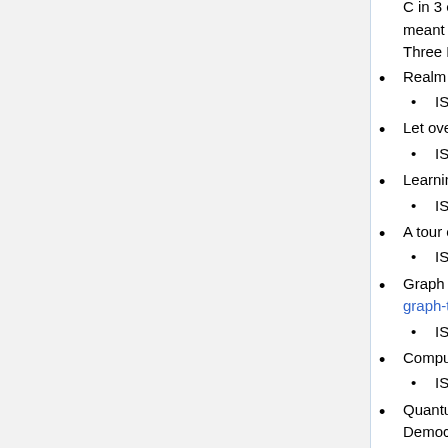C in 3 easy steps (maybe they meant to write Operating Systems: Three Easy Pieces?)
Realm of Racket
ISBN 978-1593274917
Let over Lambda
ISBN 978-1435712751
Learning Spark
ISBN 978-1449358624
A tour of C++
ISBN 978-0321958310
Graph Theory 4th Ed. (http://diestel-graph-theory.com/)
ISBN 978-3662536216
Computers and Intractability
ISBN 978-0716710455
Quantum Computing Since Democritus
ISBN 978-0521199568